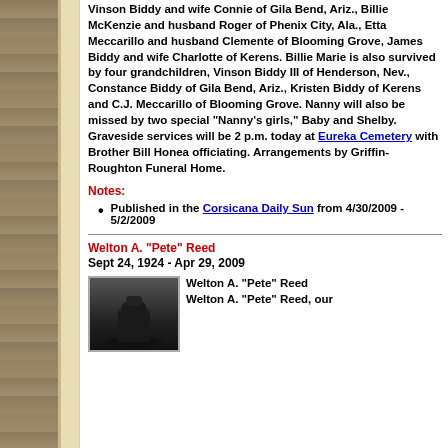Vinson Biddy and wife Connie of Gila Bend, Ariz., Billie McKenzie and husband Roger of Phenix City, Ala., Etta Meccarillo and husband Clemente of Blooming Grove, James Biddy and wife Charlotte of Kerens. Billie Marie is also survived by four grandchildren, Vinson Biddy III of Henderson, Nev., Constance Biddy of Gila Bend, Ariz., Kristen Biddy of Kerens and C.J. Meccarillo of Blooming Grove. Nanny will also be missed by two special "Nanny's girls," Baby and Shelby. Graveside services will be 2 p.m. today at Eureka Cemetery with Brother Bill Honea officiating. Arrangements by Griffin-Roughton Funeral Home.
Notes:
Published in the Corsicana Daily Sun from 4/30/2009 - 5/2/2009
Welton A. "Pete" Reed
Sept 24, 1924 - Apr 29, 2009
[Figure (photo): Black and white photograph of Welton A. Pete Reed, showing a person wearing a hat]
Welton A. "Pete" Reed
Welton A. "Pete" Reed, our